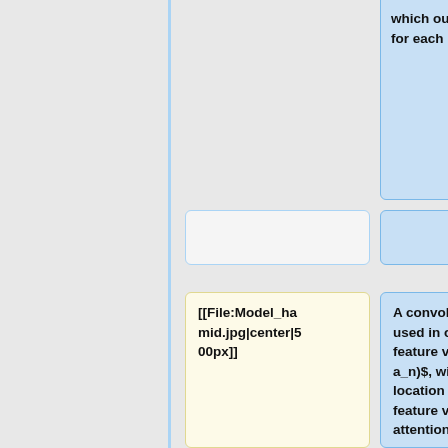which outputs a sequence of words for each phrase.]]
[[File:Model_hamid.jpg|center|500px]]
A convolutional neural network is used in order to extract a set of feature vectors $a = (a_1, \dots, a_n)$, with $a_j$ a feature in location j in the input image. These feature vectors are given to the attention layer. There are also